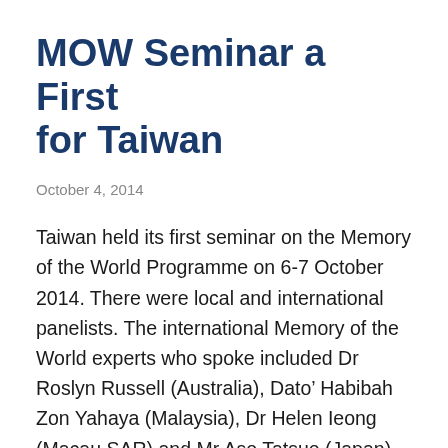MOW Seminar a First for Taiwan
October 4, 2014
Taiwan held its first seminar on the Memory of the World Programme on 6-7 October 2014. There were local and international panelists. The international Memory of the World experts who spoke included Dr Roslyn Russell (Australia), Dato’ Habibah Zon Yahaya (Malaysia), Dr Helen Ieong (Macau,SAR) and Mr Aso Tatsuo (Japan).